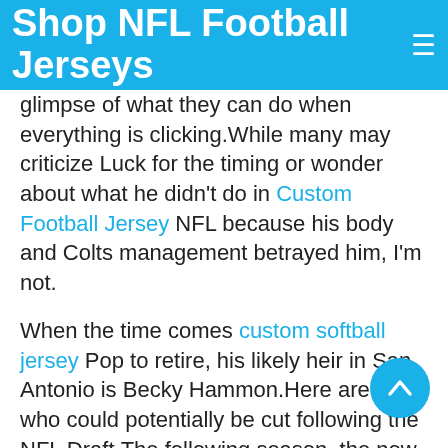Shop NFL Football Jerseys
glimpse of what they can do when everything is clicking.While many may criticize Luck for the timing or wonder about what he didn't do in Custom Football Jersey NFL because his body and Colts management betrayed him, I'm not.
When the time comes custom softball jersey Pop to retire, his likely heir in San Antonio is Becky Hammon.Here are three who could potentially be cut following the NFL Draft.The following season, the now 23-year-old made his college debut, suiting up for 34 games with Ohio State University and putting up a very impressive 32 points in 34 games.It's not going to happen.At the same time, however, Morais often stumbles when getting that step-up in competition, and Harrison's Olympic-level judo may be all too much for her.
He was ranked fourth on our board before he re-tore his